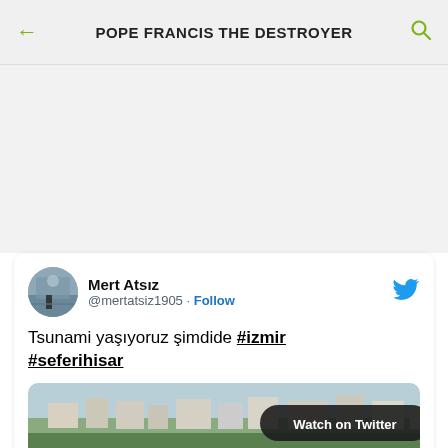POPE FRANCIS THE DESTROYER
[Figure (screenshot): A tweet by Mert Atsız (@mertatsiz1905) with text 'Tsunami yaşıyoruz şimdide #izmir #seferihisar' and a photo showing a coastal scene with water flooding, people watching, and buildings on a hill. A 'Watch on Twitter' badge overlays the image.]